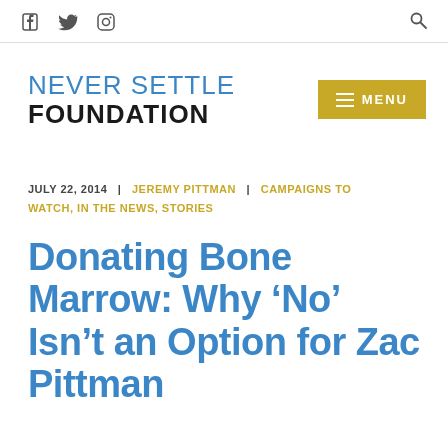Social icons: Facebook, Twitter, Instagram | Search
NEVER SETTLE FOUNDATION | MENU
JULY 22, 2014 | JEREMY PITTMAN | CAMPAIGNS TO WATCH, IN THE NEWS, STORIES
Donating Bone Marrow: Why ‘No’ Isn’t an Option for Zac Pittman